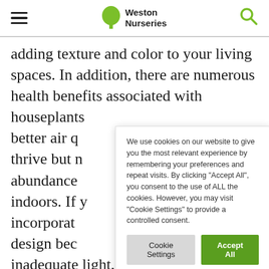Weston Nurseries [logo with tree icon and search icon]
adding texture and color to your living spaces. In addition, there are numerous health benefits associated with houseplants better air q thrive but n abundance indoors. If y incorporat design bec inadequate light, there are actually many
We use cookies on our website to give you the most relevant experience by remembering your preferences and repeat visits. By clicking "Accept All", you consent to the use of ALL the cookies. However, you may visit "Cookie Settings" to provide a controlled consent.